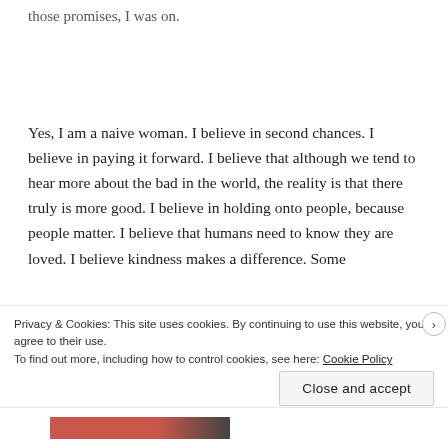those promises, I was on.
Yes, I am a naive woman. I believe in second chances. I believe in paying it forward. I believe that although we tend to hear more about the bad in the world, the reality is that there truly is more good. I believe in holding onto people, because people matter. I believe that humans need to know they are loved. I believe kindness makes a difference. Some
Privacy & Cookies: This site uses cookies. By continuing to use this website, you agree to their use.
To find out more, including how to control cookies, see here: Cookie Policy
Close and accept